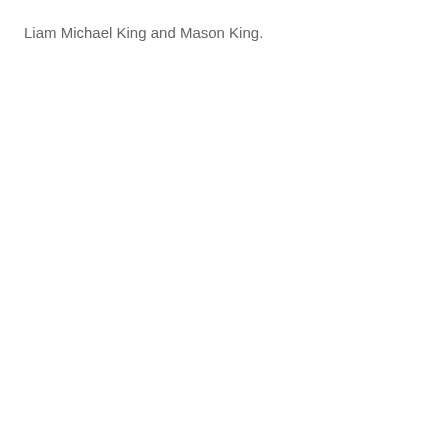Liam Michael King and Mason King.